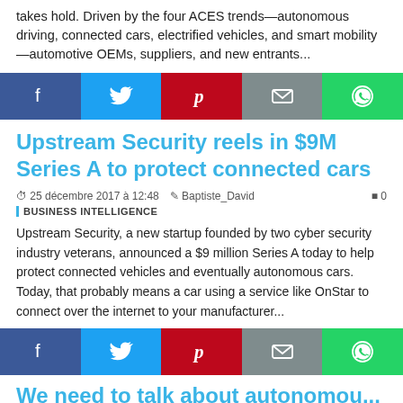takes hold. Driven by the four ACES trends—autonomous driving, connected cars, electrified vehicles, and smart mobility—automotive OEMs, suppliers, and new entrants...
[Figure (infographic): Social share bar with Facebook, Twitter, Pinterest, Email, WhatsApp buttons]
Upstream Security reels in $9M Series A to protect connected cars
25 décembre 2017 à 12:48   Baptiste_David   0
BUSINESS INTELLIGENCE
Upstream Security, a new startup founded by two cyber security industry veterans, announced a $9 million Series A today to help protect connected vehicles and eventually autonomous cars. Today, that probably means a car using a service like OnStar to connect over the internet to your manufacturer...
[Figure (infographic): Social share bar with Facebook, Twitter, Pinterest, Email, WhatsApp buttons]
We need to talk about autonomo...